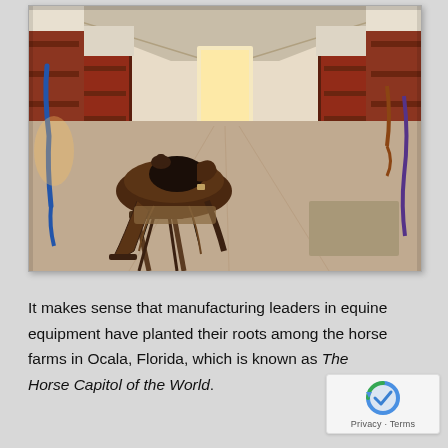[Figure (photo): Interior of a horse stable with red barn stall walls on both sides, a long aisle leading to a door at the back, and a western saddle resting on a saddle stand in the foreground on the left.]
It makes sense that manufacturing leaders in equine equipment have planted their roots among the horse farms in Ocala, Florida, which is known as The Horse Capitol of the World.